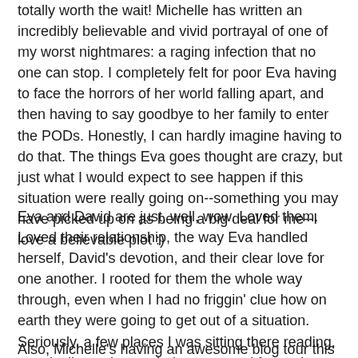totally worth the wait! Michelle has written an incredibly believable and vivid portrayal of one of my worst nightmares: a raging infection that no one can stop. I completely felt for poor Eva having to face the horrors of her world falling apart, and then having to say goodbye to her family to enter the PODs. Honestly, I can hardly imagine having to do that. The things Eva goes thought are crazy, but just what I would expect to see happen if this situation were really going on--something you may have picked up on as being a big deal for me--I love a believable plot :)
Eva and David are just, well, wow. Loved them. Loved their relationship, the way Eva handled herself, David's devotion, and their clear love for one another. I rooted for them the whole way through, even when I had no friggin' clue how on earth they were going to get out of a situation. Seriously, a few places I was sitting there reading, practically tearing my hair out to read faster, just so I'd know what happened :) This was definitely a keep-me-up-til-the-middle-of-the-night book. I loved it!!
Also, Michelle's having an awesome blog tour this week, and